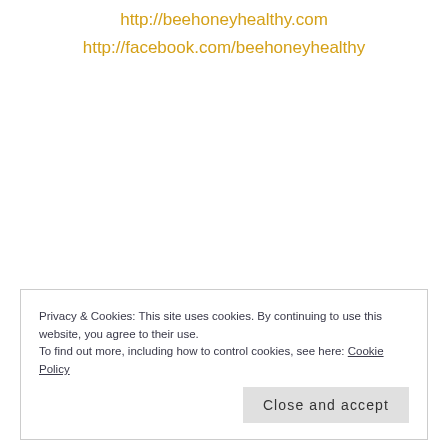http://beehoneyhealthy.com
http://facebook.com/beehoneyhealthy
Privacy & Cookies: This site uses cookies. By continuing to use this website, you agree to their use. To find out more, including how to control cookies, see here: Cookie Policy
Close and accept